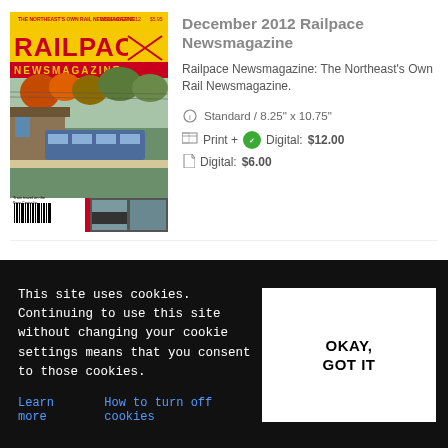[Figure (photo): Cover of December 2012 Railpace Newsmagazine showing trains at a station with autumn trees]
December 2012 Railpace Newsmagazine
Railpace Newsmagazine: The Northeast's Own Rail Newsmagazine.
Standard / 8.25" x 10.75"
Print + Digital: $12.00
Digital: $6.00
[Figure (photo): Cover of October 2012 Railpace Newsmagazine]
OCTOBER 2012 Railpace Newsmagazine
This site uses cookies. Continuing to use this site without changing your cookie settings means that you consent to those cookies.
Learn more   How to turn off cookies
OKAY, GOT IT